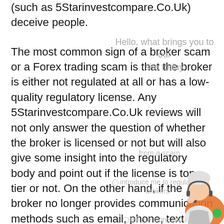(such as 5Starinvestcompare.Co.Uk) deceive people. The most common sign of a broker scam or a Forex trading scam is that the broker is either not regulated at all or has a low-quality regulatory license. Any 5Starinvestcompare.Co.Uk reviews will not only answer the question of whether the broker is licensed or not but will also give some insight into the regulatory body and point out if the license is top tier or not. On the other hand, if the broker no longer provides communication methods such as email, phone, text messaging, and chat, and has a support team that does not seem to understand the trade or is evasive when asking certain questions, this could be a sign that
[Figure (other): Chat widget overlay with options: Hello what brings you to our site today, protect the broker is a scam, introduce me to regulated brokers, tell me more about a broker, Teach me winning tactics and strategies, Help me avoid trading. Customer service agent photo in bottom right corner.]